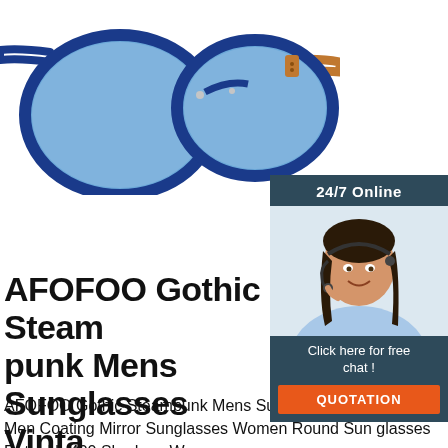[Figure (photo): Blue aviator sunglasses with tortoise shell arms on white background, partially cropped at top]
[Figure (infographic): 24/7 Online chat widget with dark teal header, smiling female customer service agent with headset, 'Click here for free chat!' text, and orange QUOTATION button]
AFOFOO Gothic Steampunk Mens Sunglasses Vintage Metal
AFOFOO Gothic Steampunk Mens Sunglasses Vintage Metal Men Coating Mirror Sunglasses Women Round Sun glasses Retro UV400 Shades - Women s
[Figure (logo): Orange dotted TOP badge/logo in bottom right area]